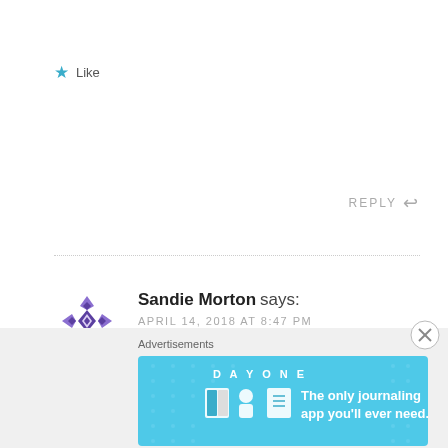Like
REPLY
Sandie Morton says:
APRIL 14, 2018 AT 8:47 PM
We installed 4 in a previous house and loved them! They make such a difference!
Liked by 1 person
Advertisements
[Figure (screenshot): Day One journaling app advertisement: light blue banner with icons and text reading 'The only journaling app you'll ever need.']